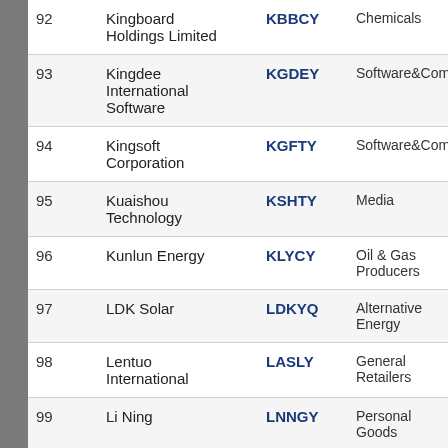| # | Company | Ticker | Sector |
| --- | --- | --- | --- |
| 92 | Kingboard Holdings Limited | KBBCY | Chemicals |
| 93 | Kingdee International Software | KGDEY | Software&Computer |
| 94 | Kingsoft Corporation | KGFTY | Software&Computer |
| 95 | Kuaishou Technology | KSHTY | Media |
| 96 | Kunlun Energy | KLYCY | Oil & Gas Producers |
| 97 | LDK Solar | LDKYQ | Alternative Energy |
| 98 | Lentuo International | LASLY | General Retailers |
| 99 | Li Ning | LNNGY | Personal Goods |